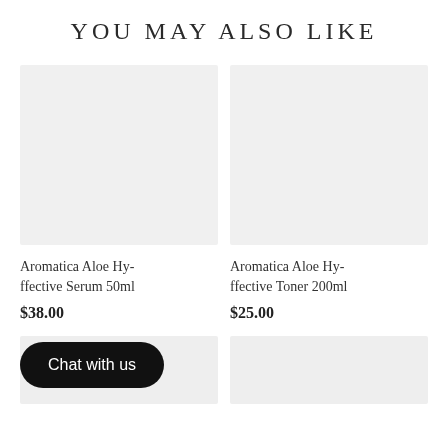YOU MAY ALSO LIKE
[Figure (photo): Empty light gray product image placeholder for Aromatica Aloe Hyffective Serum 50ml]
[Figure (photo): Empty light gray product image placeholder for Aromatica Aloe Hyffective Toner 200ml]
Aromatica Aloe Hyffective Serum 50ml
$38.00
Aromatica Aloe Hyffective Toner 200ml
$25.00
[Figure (photo): Empty light gray product image placeholder (bottom left)]
[Figure (photo): Empty light gray product image placeholder (bottom right)]
Chat with us